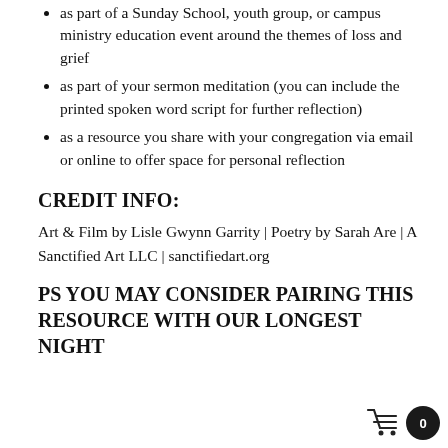as part of a Sunday School, youth group, or campus ministry education event around the themes of loss and grief
as part of your sermon meditation (you can include the printed spoken word script for further reflection)
as a resource you share with your congregation via email or online to offer space for personal reflection
CREDIT INFO:
Art & Film by Lisle Gwynn Garrity | Poetry by Sarah Are | A Sanctified Art LLC | sanctifiedart.org
PS YOU MAY CONSIDER PAIRING THIS RESOURCE WITH OUR LONGEST NIGHT